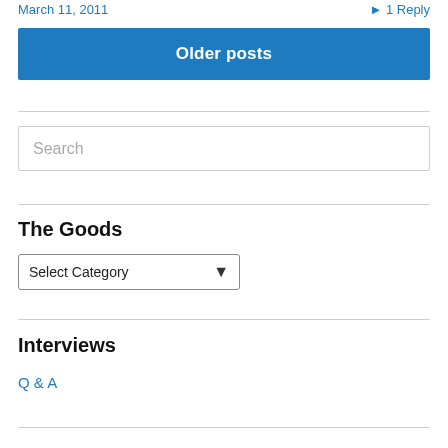March 11, 2011 · 1 Reply
Older posts
Search
The Goods
Select Category
Interviews
Q & A